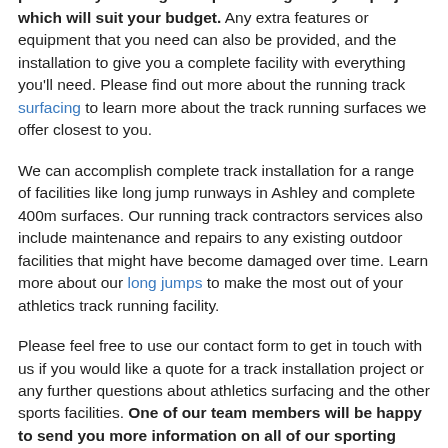We can help you keep these costs down as much as possible by creating a bespoke design for your project which will suit your budget. Any extra features or equipment that you need can also be provided, and the installation to give you a complete facility with everything you'll need. Please find out more about the running track surfacing to learn more about the track running surfaces we offer closest to you.
We can accomplish complete track installation for a range of facilities like long jump runways in Ashley and complete 400m surfaces. Our running track contractors services also include maintenance and repairs to any existing outdoor facilities that might have become damaged over time. Learn more about our long jumps to make the most out of your athletics track running facility.
Please feel free to use our contact form to get in touch with us if you would like a quote for a track installation project or any further questions about athletics surfacing and the other sports facilities. One of our team members will be happy to send you more information on all of our sporting facility products and services.